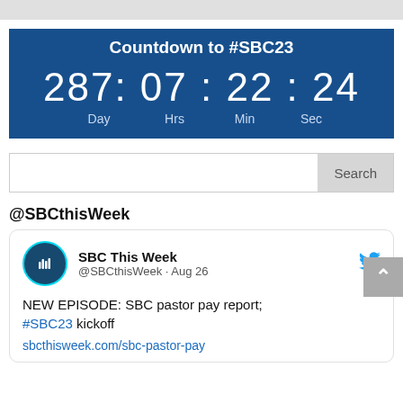[Figure (screenshot): Gray top bar strip]
Countdown to #SBC23
287: 07 : 22 : 24
Day   Hrs   Min   Sec
Search
@SBCthisWeek
SBC This Week @SBCthisWeek · Aug 26
NEW EPISODE: SBC pastor pay report; #SBC23 kickoff
sbcthisweek.com/sbc-pastor-pay